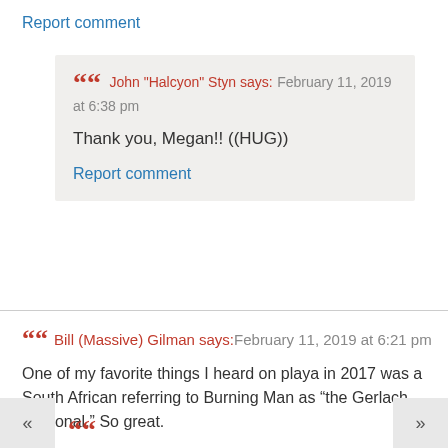Report comment
John "Halcyon" Styn says: February 11, 2019 at 6:38 pm
Thank you, Megan!! ((HUG))
Report comment
Bill (Massive) Gilman says: February 11, 2019 at 6:21 pm
One of my favorite things I heard on playa in 2017 was a South African referring to Burning Man as “the Gerlach Regional.” So great.
Report comment